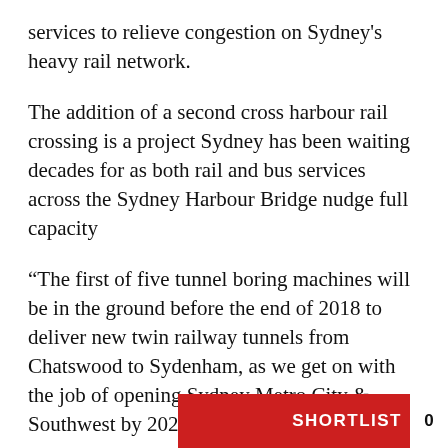services to relieve congestion on Sydney's heavy rail network.
The addition of a second cross harbour rail crossing is a project Sydney has been waiting decades for as both rail and bus services across the Sydney Harbour Bridge nudge full capacity
“The first of five tunnel boring machines will be in the ground before the end of 2018 to deliver new twin railway tunnels from Chatswood to Sydenham, as we get on with the job of opening Sydney Metro City & Southwest by 2024,” Mr Constance said.
“We finished tunnel